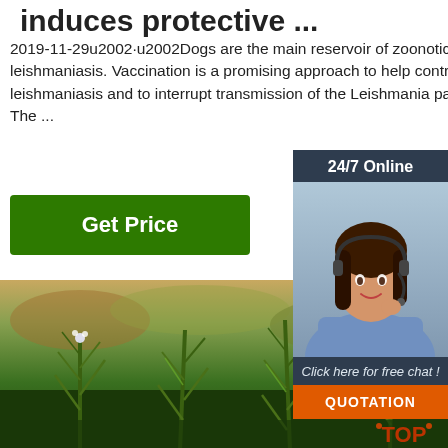induces protective ...
2019-11-29u2002·u2002Dogs are the main reservoir of zoonotic visceral leishmaniasis. Vaccination is a promising approach to help control leishmaniasis and to interrupt transmission of the Leishmania parasite. The ...
[Figure (other): Green button labeled 'Get Price']
[Figure (other): Sidebar with 24/7 Online label, customer service representative photo with headset, 'Click here for free chat!' text, and orange QUOTATION button]
[Figure (photo): Close-up photograph of green rosemary or herb plants with small white flowers in a field, blurred background with warm tones]
[Figure (logo): TOP watermark logo in bottom right corner with orange-red color]